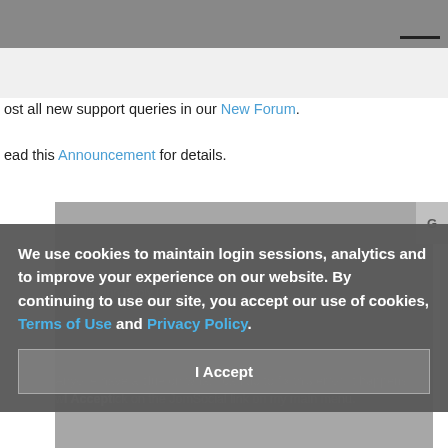ost all new support queries in our New Forum.
ead this Announcement for details.
We use cookies to maintain login sessions, analytics and to improve your experience on our website. By continuing to use our site, you accept our use of cookies, Terms of Use and Privacy Policy.
I Accept
Anyone have a clue on what I can do to fix this error. It happens when I click on the JomSocial link on my main menu.